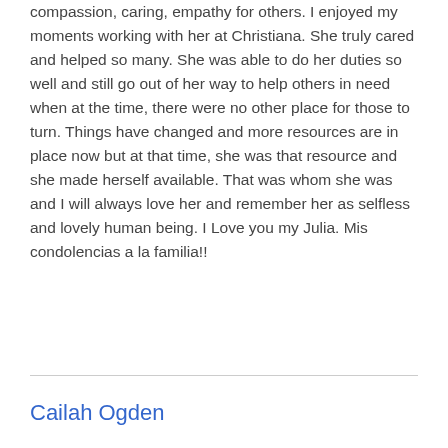compassion, caring, empathy for others. I enjoyed my moments working with her at Christiana. She truly cared and helped so many. She was able to do her duties so well and still go out of her way to help others in need when at the time, there were no other place for those to turn. Things have changed and more resources are in place now but at that time, she was that resource and she made herself available. That was whom she was and I will always love her and remember her as selfless and lovely human being. I Love you my Julia. Mis condolencias a la familia!!
Cailah Ogden